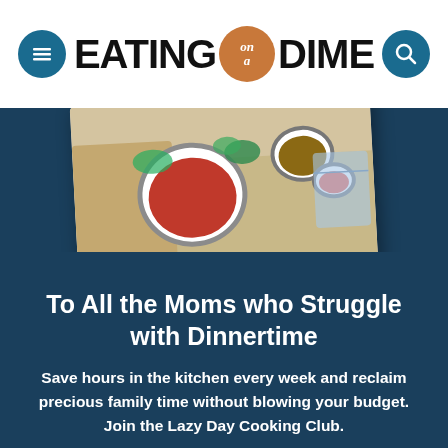EATING on a DIME
[Figure (photo): Overhead view of a meal prep tray with bowls of food including a red sauce/dip, grains, vegetables, and other ingredients]
To All the Moms who Struggle with Dinnertime
Save hours in the kitchen every week and reclaim precious family time without blowing your budget. Join the Lazy Day Cooking Club.
→ Join the Club